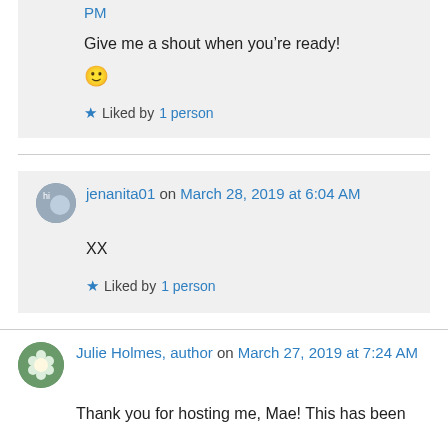PM
Give me a shout when you're ready!
🙂
Liked by 1 person
jenanita01 on March 28, 2019 at 6:04 AM
XX
Liked by 1 person
Julie Holmes, author on March 27, 2019 at 7:24 AM
Thank you for hosting me, Mae! This has been